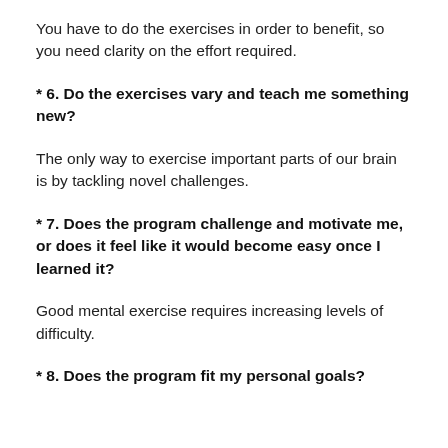You have to do the exercises in order to benefit, so you need clarity on the effort required.
* 6. Do the exercises vary and teach me something new?
The only way to exercise important parts of our brain is by tackling novel challenges.
* 7. Does the program challenge and motivate me, or does it feel like it would become easy once I learned it?
Good mental exercise requires increasing levels of difficulty.
* 8. Does the program fit my personal goals?